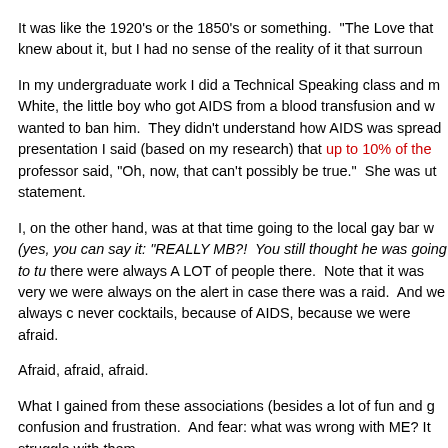It was like the 1920's or the 1850's or something. "The Love that knew about it, but I had no sense of the reality of it that surroun
In my undergraduate work I did a Technical Speaking class and m White, the little boy who got AIDS from a blood transfusion and w wanted to ban him. They didn't understand how AIDS was spread presentation I said (based on my research) that up to 10% of the professor said, "Oh, now, that can't possibly be true." She was ut statement.
I, on the other hand, was at that time going to the local gay bar w (yes, you can say it: "REALLY MB?! You still thought he was going to tu there were always A LOT of people there. Note that it was very we were always on the alert in case there was a raid. And we always c never cocktails, because of AIDS, because we were afraid.
Afraid, afraid, afraid.
What I gained from these associations (besides a lot of fun and g confusion and frustration. And fear: what was wrong with ME? It struggle with them.